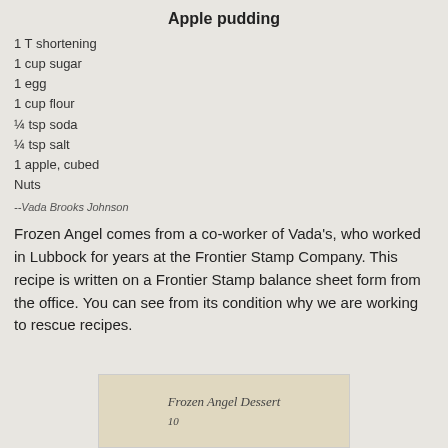Apple pudding
1 T shortening
1 cup sugar
1 egg
1 cup flour
¼ tsp soda
¼ tsp salt
1 apple, cubed
Nuts
--Vada Brooks Johnson
Frozen Angel comes from a co-worker of Vada's, who worked in Lubbock for years at the Frontier Stamp Company. This recipe is written on a Frontier Stamp balance sheet form from the office. You can see from its condition why we are working to rescue recipes.
[Figure (photo): Aged handwritten recipe card showing 'Frozen Angel Dessert' in cursive script on yellowed paper]